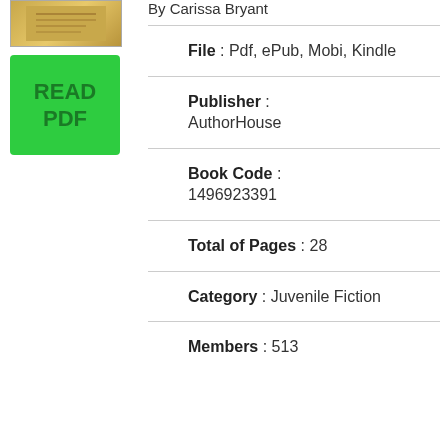[Figure (illustration): Book cover thumbnail with golden/yellow gradient]
[Figure (illustration): Green READ PDF button]
By Carissa Bryant
File : Pdf, ePub, Mobi, Kindle
Publisher : AuthorHouse
Book Code : 1496923391
Total of Pages : 28
Category : Juvenile Fiction
Members : 513